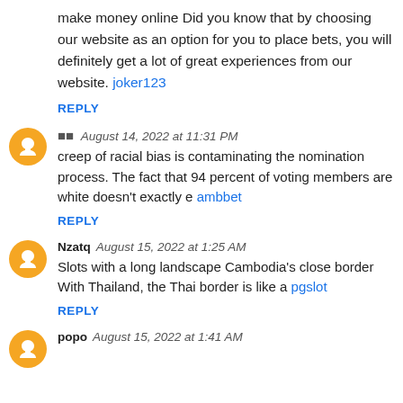make money online Did you know that by choosing our website as an option for you to place bets, you will definitely get a lot of great experiences from our website. joker123
REPLY
🔲🔲  August 14, 2022 at 11:31 PM
creep of racial bias is contaminating the nomination process. The fact that 94 percent of voting members are white doesn't exactly e ambbet
REPLY
Nzatq  August 15, 2022 at 1:25 AM
Slots with a long landscape Cambodia's close border With Thailand, the Thai border is like a pgslot
REPLY
popo  August 15, 2022 at 1:41 AM